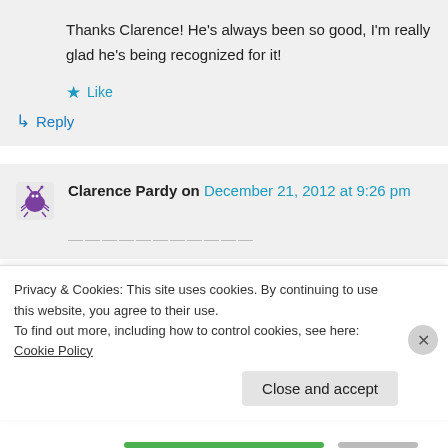Thanks Clarence! He's always been so good, I'm really glad he's being recognized for it!
★ Like
↳ Reply
Clarence Pardy on December 21, 2012 at 9:26 pm
Privacy & Cookies: This site uses cookies. By continuing to use this website, you agree to their use.
To find out more, including how to control cookies, see here: Cookie Policy
Close and accept